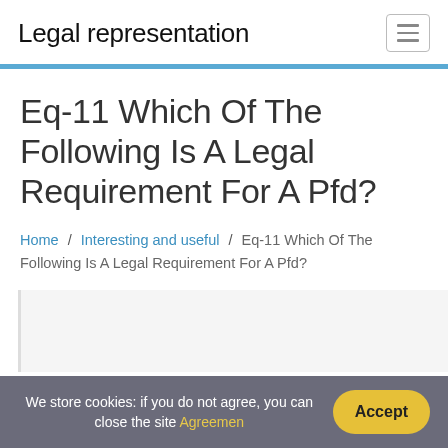Legal representation
Eq-11 Which Of The Following Is A Legal Requirement For A Pfd?
Home / Interesting and useful / Eq-11 Which Of The Following Is A Legal Requirement For A Pfd?
We store cookies: if you do not agree, you can close the site Agreemen
Accept